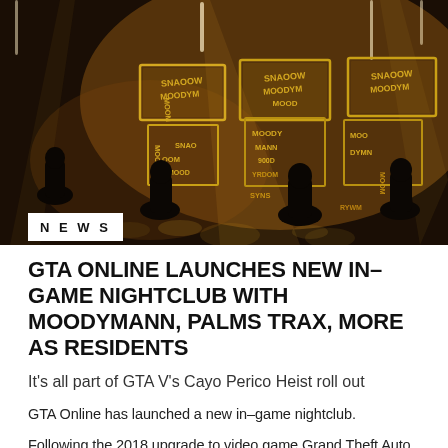[Figure (photo): Nightclub scene from GTA Online showing illuminated MOODYMANN signs/logo boxes on a stage with silhouetted figures, warm amber lighting]
NEWS
GTA ONLINE LAUNCHES NEW IN–GAME NIGHTCLUB WITH MOODYMANN, PALMS TRAX, MORE AS RESIDENTS
It's all part of GTA V's Cayo Perico Heist roll out
GTA Online has launched a new in–game nightclub.
Following the 2018 upgrade to video game Grand Theft Auto,